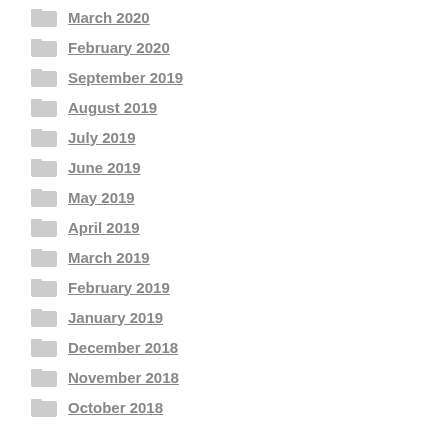March 2020
February 2020
September 2019
August 2019
July 2019
June 2019
May 2019
April 2019
March 2019
February 2019
January 2019
December 2018
November 2018
October 2018